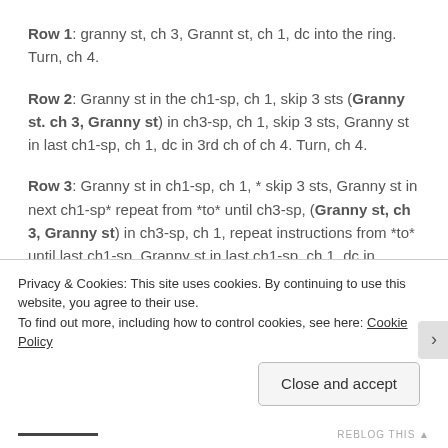Row 1: granny st, ch 3, Grannt st, ch 1, dc into the ring. Turn, ch 4.
Row 2: Granny st in the ch1-sp, ch 1, skip 3 sts (Granny st. ch 3, Granny st) in ch3-sp, ch 1, skip 3 sts, Granny st in last ch1-sp, ch 1, dc in 3rd ch of ch 4. Turn, ch 4.
Row 3: Granny st in ch1-sp, ch 1, * skip 3 sts, Granny st in next ch1-sp* repeat from *to* until ch3-sp, (Granny st, ch 3, Granny st) in ch3-sp, ch 1, repeat instructions from *to* until last ch1-sp. Granny st in last ch1-sp, ch 1, dc in 3rd ch of ch 4. Turn, ch 4.
Privacy & Cookies: This site uses cookies. By continuing to use this website, you agree to their use.
To find out more, including how to control cookies, see here: Cookie Policy
Close and accept